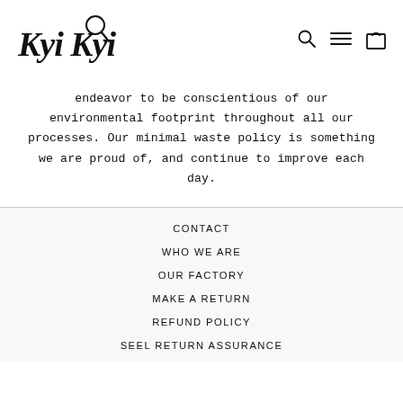Kyi Kyi [logo with navigation icons]
endeavor to be conscientious of our environmental footprint throughout all our processes. Our minimal waste policy is something we are proud of, and continue to improve each day.
CONTACT
WHO WE ARE
OUR FACTORY
MAKE A RETURN
REFUND POLICY
SEEL RETURN ASSURANCE